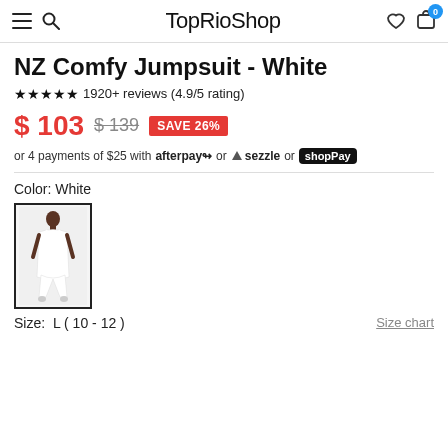TopRioShop
NZ Comfy Jumpsuit - White
★★★★★ 1920+ reviews (4.9/5 rating)
$ 103  $139  SAVE 26%
or 4 payments of $25 with afterpay or sezzle or shopPay
Color: White
[Figure (photo): White jumpsuit worn by a model, shown as a thumbnail color swatch option]
Size: L ( 10 - 12 )
Size chart